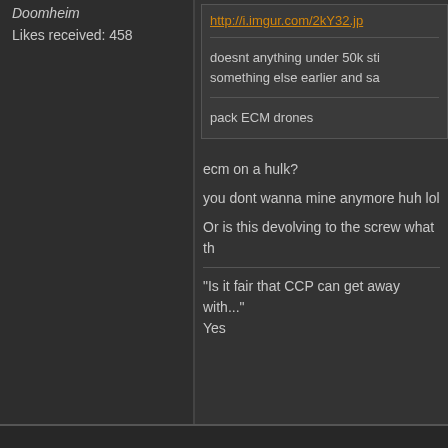Doomheim
Likes received: 458
http://i.imgur.com/2kY32.jp
doesnt anything under 50k sti something else earlier and sa
pack ECM drones
ecm on a hulk?
you dont wanna mine anymore huh lol
Or is this devolving to the screw what th
"Is it fair that CCP can get away with..."
Yes